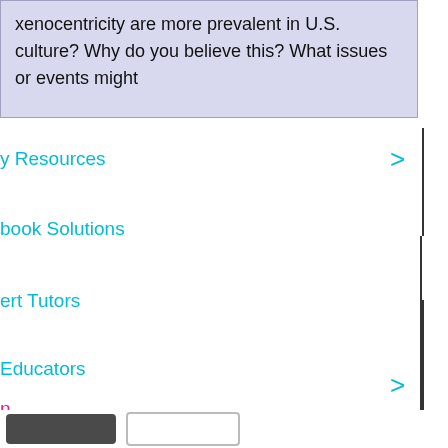xenocentricity are more prevalent in U.S. culture? Why do you believe this? What issues or events might
y Resources
book Solutions
ert Tutors
Educators
n
up